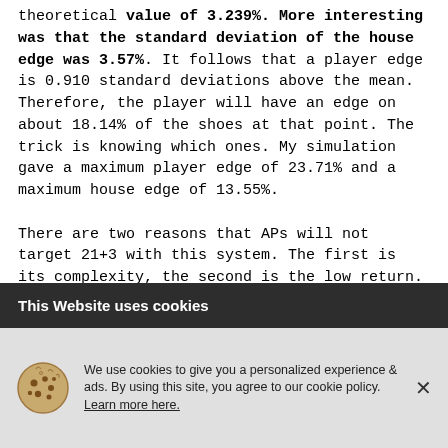theoretical value of 3.239%. More interesting was that the standard deviation of the house edge was 3.57%. It follows that a player edge is 0.910 standard deviations above the mean. Therefore, the player will have an edge on about 18.14% of the shoes at that point. The trick is knowing which ones. My simulation gave a maximum player edge of 23.71% and a maximum house edge of 13.55%.

There are two reasons that APs will not target 21+3 with this system. The first is its complexity, the second is the low return. However, there is another approach that may be significantly...
This Website uses cookies
We use cookies to give you a personalized experience & ads. By using this site, you agree to our cookie policy. Learn more here.